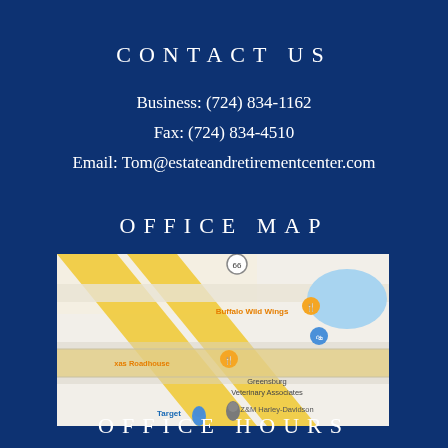CONTACT US
Business: (724) 834-1162
Fax: (724) 834-4510
Email: Tom@estateandretirementcenter.com
OFFICE MAP
[Figure (map): Google Maps screenshot showing area near Greensburg, PA with landmarks: Buffalo Wild Wings, Texas Roadhouse, Greensburg Veterinary Associates, Z&M Harley-Davidson, Target, and route 66 visible.]
OFFICE HOURS